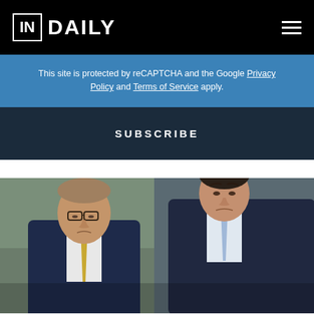IN DAILY
This site is protected by reCAPTCHA and the Google Privacy Policy and Terms of Service apply.
SUBSCRIBE
[Figure (photo): Two men in dark suits standing together. The man on the left wears glasses and a yellow tie, looking downward. The man on the right wears a light blue tie, also looking downward. Background appears to be a government or parliamentary setting with green and grey tones.]